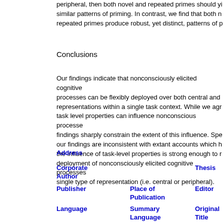peripheral, then both novel and repeated primes should yield similar patterns of priming. In contrast, we find that both novel and repeated primes produce robust, yet distinct, patterns of priming.
Conclusions
Our findings indicate that nonconsciously elicited cognitive processes can be flexibly deployed over both central and peripheral representations within a single task context. While we agree that task level properties can influence nonconscious processes, our findings sharply constrain the extent of this influence. Specifically, our findings are inconsistent with extant accounts which hold that the influence of task-level properties is strong enough to restrict the deployment of nonconsciously elicited cognitive processes to a single type of representation (i.e. central or peripheral).
Address
Corporate Author
Thesis
Publisher
Place of Publication
Editor
Language
Summary Language
Original Title
Series Editor
Series Title
Abbreviated Series Title
Series
Series
Edition